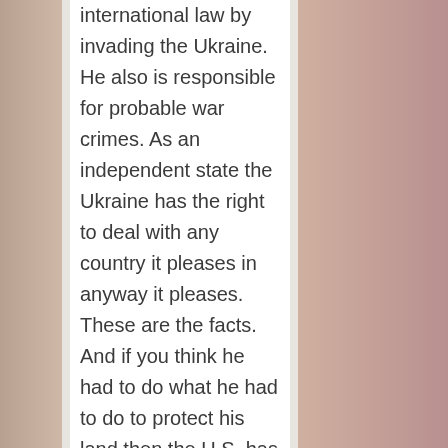international law by invading the Ukraine. He also is responsible for probable war crimes. As an independent state the Ukraine has the right to deal with any country it pleases in anyway it pleases. These are the facts. And if you think he had to do what he had to do to protect his land then the U.S. has done the same by taking Hawaii. You think this is right? Maybe it is.